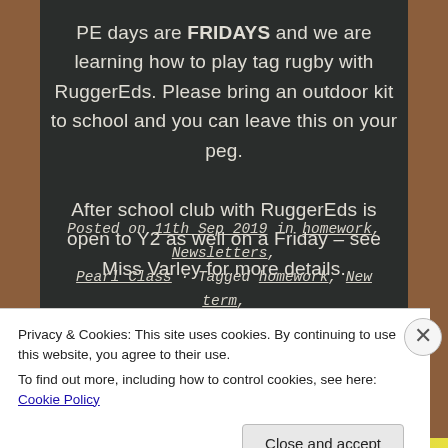PE days are FRIDAYS and we are learning how to play tag rugby with RuggerEds. Please bring an outdoor kit to school and you can leave this on your peg.
After school club with RuggerEds is open to Y2 as well on a Friday – see Miss Varley for more details.
Posted on 11th Sep 2019 in homework, Newsletters, Pearl Class · Tagged homework, New term, Newsletters, Pearl Class, Y2 · Leave a comment
Privacy & Cookies: This site uses cookies. By continuing to use this website, you agree to their use.
To find out more, including how to control cookies, see here: Cookie Policy